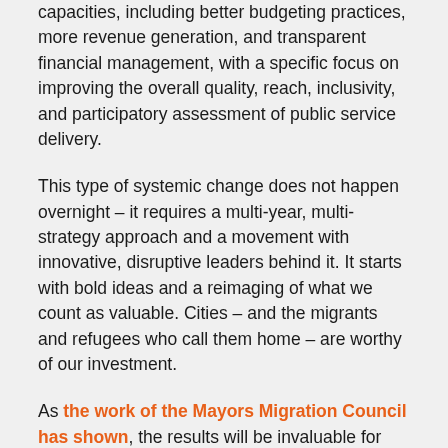capacities, including better budgeting practices, more revenue generation, and transparent financial management, with a specific focus on improving the overall quality, reach, inclusivity, and participatory assessment of public service delivery.
This type of systemic change does not happen overnight – it requires a multi-year, multi-strategy approach and a movement with innovative, disruptive leaders behind it. It starts with bold ideas and a reimaging of what we count as valuable. Cities – and the migrants and refugees who call them home – are worthy of our investment.
As the work of the Mayors Migration Council has shown, the results will be invaluable for migrant and displaced communities: as a USD 4.5 million fund, the GCF over 20,000 people across 20 cities stand to directly benefit from the GCF at a cost of less than USD 200 per person. Compared with the economic benefit migrants and